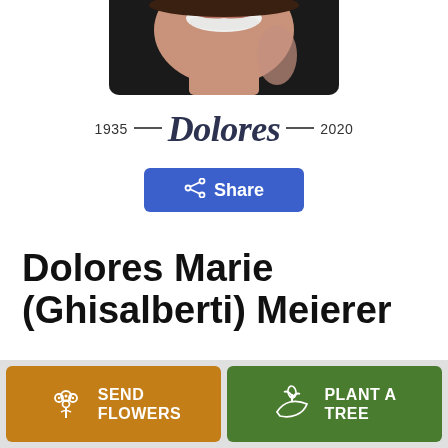[Figure (photo): Partial portrait photo of a woman smiling, cropped at chin level, dark background]
1935 — Dolores — 2020
Share
Dolores Marie (Ghisalberti) Meierer
SEND FLOWERS
PLANT A TREE